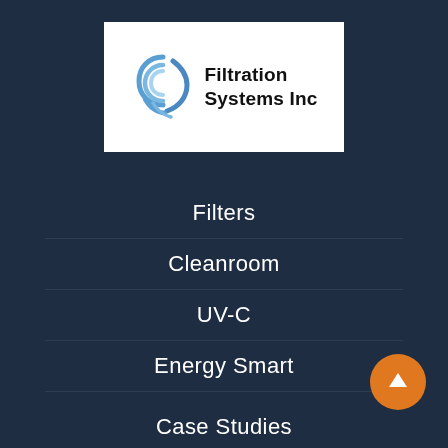[Figure (logo): Filtration Systems Inc logo: blue spiral/wave circle graphic on the left with bold black text 'Filtration Systems Inc' on the right, on a white background]
Filters
Cleanroom
UV-C
Energy Smart
Case Studies
Blog
Contact Us